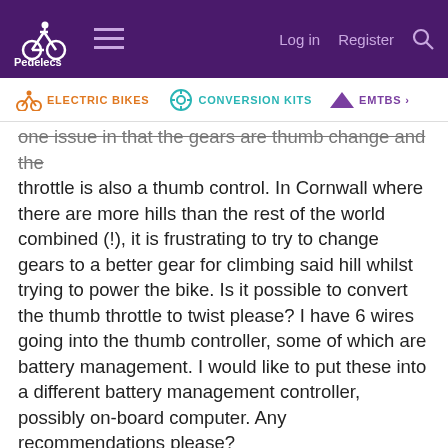Pedelecs | Electric Bikes | Log in | Register
ELECTRIC BIKES | CONVERSION KITS | EMTBS
one issue in that the gears are thumb change and the throttle is also a thumb control. In Cornwall where there are more hills than the rest of the world combined (!), it is frustrating to try to change gears to a better gear for climbing said hill whilst trying to power the bike. Is it possible to convert the thumb throttle to twist please? I have 6 wires going into the thumb controller, some of which are battery management. I would like to put these into a different battery management controller, possibly on-board computer. Any recommendations please?
And tomorrow I am starting to build a sidecar for the bike.
Thanks for the help.
Rich.